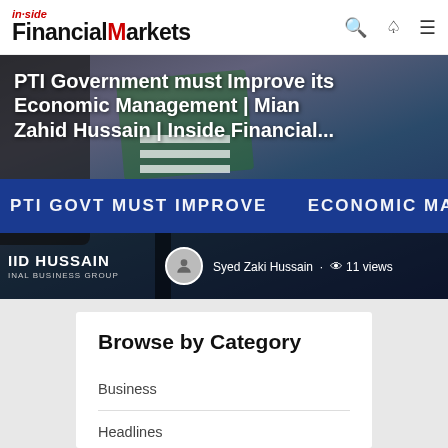inside Financial Markets
[Figure (photo): Hero image showing a person in front of a blue banner with text 'PTI GOVT MUST IMPROVE ECONOMIC MANAGEMENT' with overlay title text about PTI Government economic management article and author Syed Zaki Hussain with 11 views.]
PTI Government must Improve its Economic Management | Mian Zahid Hussain | Inside Financial...
Syed Zaki Hussain · 11 views
Browse by Category
Business
Headlines